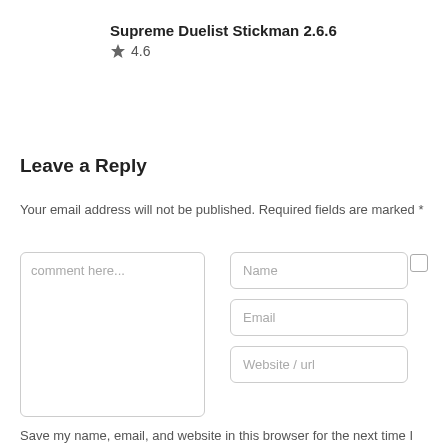Supreme Duelist Stickman 2.6.6
★ 4.6
Leave a Reply
Your email address will not be published. Required fields are marked *
[Figure (screenshot): Comment form with textarea (comment here...), Name, Email, Website/url fields, and a checkbox]
Save my name, email, and website in this browser for the next time I comment.